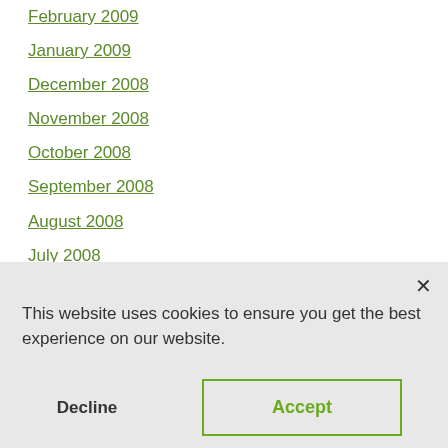February 2009
January 2009
December 2008
November 2008
October 2008
September 2008
August 2008
July 2008
June 2008
May 2008
April 2008
This website uses cookies to ensure you get the best experience on our website.
Decline  Accept
December 2007